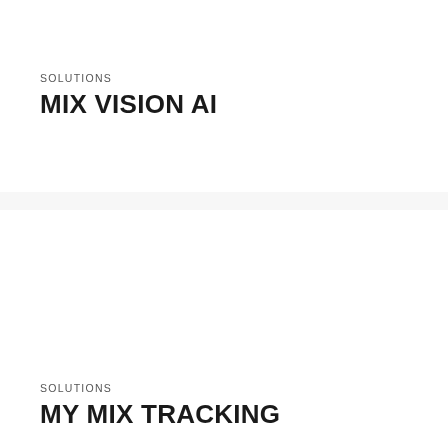SOLUTIONS
MIX VISION AI
SOLUTIONS
MY MIX TRACKING